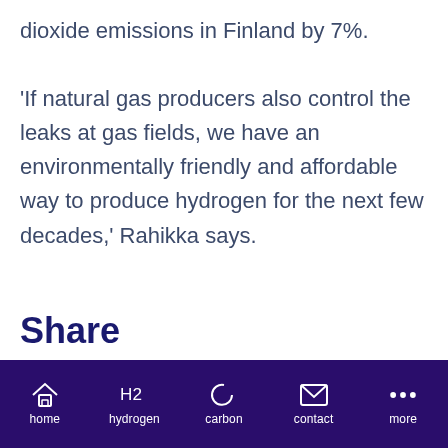dioxide emissions in Finland by 7%. ‘If natural gas producers also control the leaks at gas fields, we have an environmentally friendly and affordable way to produce hydrogen for the next few decades,’ Rahikka says.
Share
home | hydrogen | carbon | contact | more